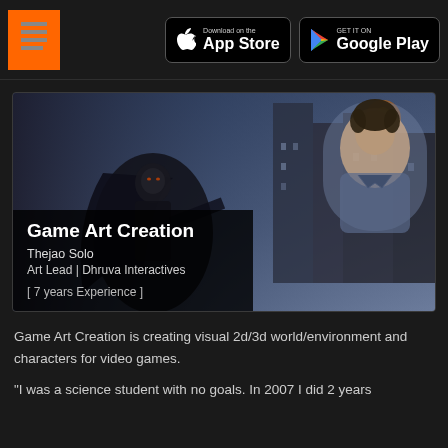Game Art Creation — App Store / Google Play header
[Figure (screenshot): Game Art Creation course banner with dark fantasy game art featuring a cloaked warrior and a photo of the instructor Thejao Solo, with overlay text: Game Art Creation, Thejao Solo, Art Lead | Dhruva Interactives, [ 7 years Experience ]]
Game Art Creation is creating visual 2d/3d world/environment and characters for video games.
"I was a science student with no goals. In 2007 I did 2 years